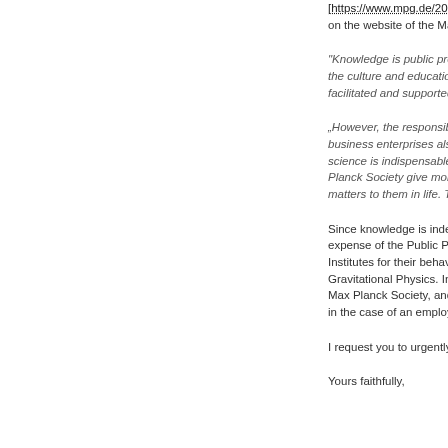[https://www.mpg.de/20085... on the website of the Max P...
"Knowledge is public prope... the culture and educational... facilitated and supported by...
„However, the responsibility... business enterprises also p... science is indispensable fo... Planck Society give more t... matters to them in life. They...
Since knowledge is indeed... expense of the Public Purse... Institutes for their behavio... Gravitational Physics. In yo... Max Planck Society, and m... in the case of an employee...
I request you to urgently ad...
Yours faithfully,